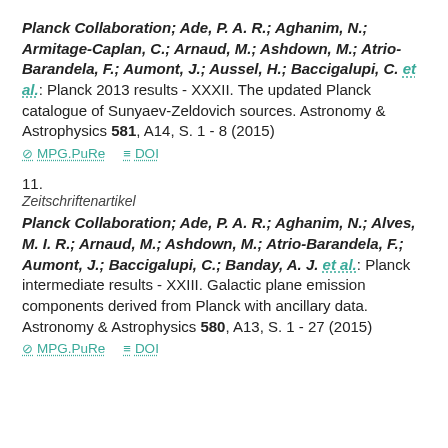Planck Collaboration; Ade, P. A. R.; Aghanim, N.; Armitage-Caplan, C.; Arnaud, M.; Ashdown, M.; Atrio-Barandela, F.; Aumont, J.; Aussel, H.; Baccigalupi, C. et al.: Planck 2013 results - XXXII. The updated Planck catalogue of Sunyaev-Zeldovich sources. Astronomy & Astrophysics 581, A14, S. 1 - 8 (2015)
MPG.PuRe   DOI
11.
Zeitschriftenartikel
Planck Collaboration; Ade, P. A. R.; Aghanim, N.; Alves, M. I. R.; Arnaud, M.; Ashdown, M.; Atrio-Barandela, F.; Aumont, J.; Baccigalupi, C.; Banday, A. J. et al.: Planck intermediate results - XXIII. Galactic plane emission components derived from Planck with ancillary data. Astronomy & Astrophysics 580, A13, S. 1 - 27 (2015)
MPG.PuRe   DOI